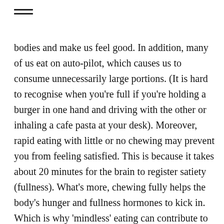≡
bodies and make us feel good. In addition, many of us eat on auto-pilot, which causes us to consume unnecessarily large portions. (It is hard to recognise when you're full if you're holding a burger in one hand and driving with the other or inhaling a cafe pasta at your desk). Moreover, rapid eating with little or no chewing may prevent you from feeling satisfied. This is because it takes about 20 minutes for the brain to register satiety (fullness). What's more, chewing fully helps the body's hunger and fullness hormones to kick in. Which is why 'mindless' eating can contribute to weight gain and work